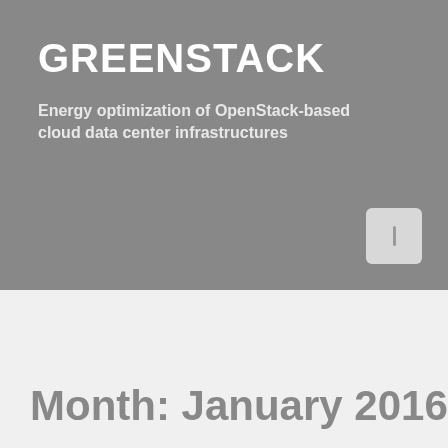GREENSTACK
Energy optimization of OpenStack-based cloud data center infrastructures
Month: January 2016